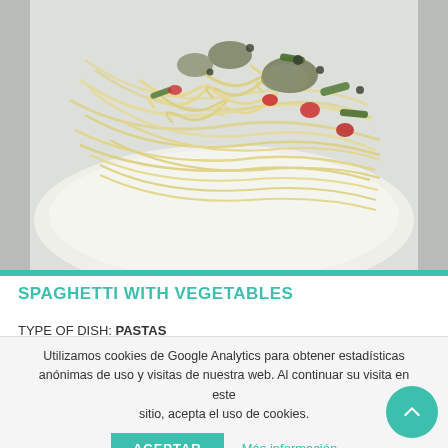[Figure (photo): A plate of spaghetti with vegetables including green peppers, red tomatoes, and mushrooms on a white plate against a light background.]
SPAGHETTI WITH VEGETABLES
TYPE OF DISH: PASTAS
TEMPERATURE: HOT
CUISINE TYPE: VEGAN CUISINE
Utilizamos cookies de Google Analytics para obtener estadísticas anónimas de uso y visitas de nuestra web. Al continuar su visita en este sitio, acepta el uso de cookies.
ACEPTAR    Más información